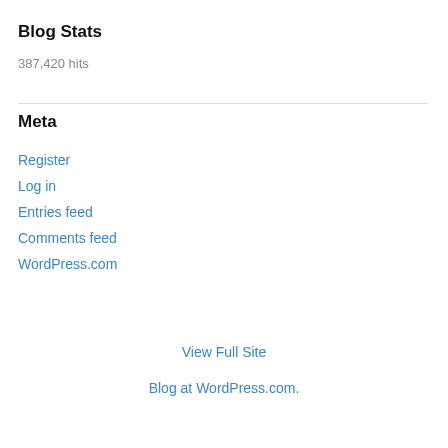Blog Stats
387,420 hits
Meta
Register
Log in
Entries feed
Comments feed
WordPress.com
View Full Site
Blog at WordPress.com.